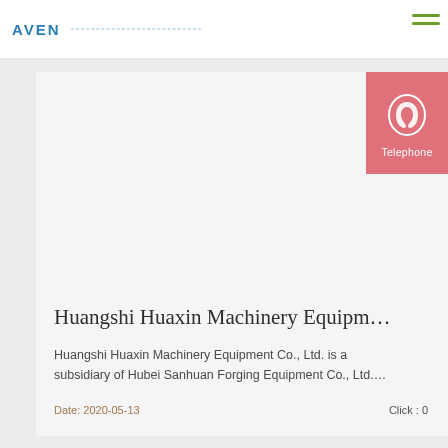AVEN
[Figure (other): Telephone contact widget with ear/phone icon in pink/salmon background]
Huangshi Huaxin Machinery Equipm…
Huangshi Huaxin Machinery Equipment Co., Ltd. is a subsidiary of Hubei Sanhuan Forging Equipment Co., Ltd.…
Date: 2020-05-13    Click : 0